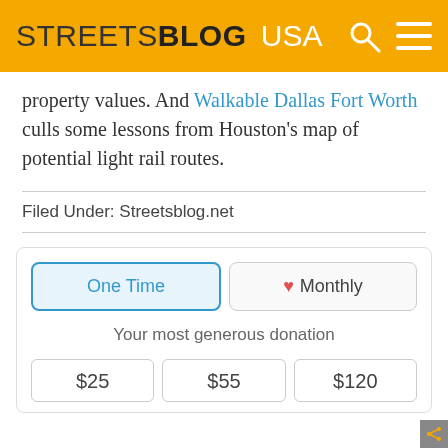STREETSBLOG USA
property values. And Walkable Dallas Fort Worth culls some lessons from Houston's map of potential light rail routes.
Filed Under: Streetsblog.net
[Figure (infographic): Donation widget with One Time and Monthly tabs, showing donation amounts of $25, $55, $120]
Your most generous donation
$25   $55   $120